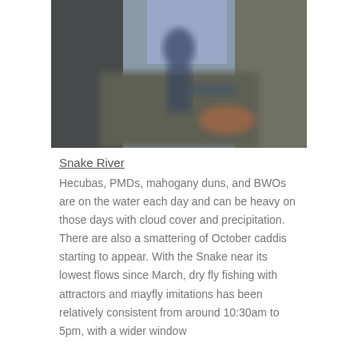[Figure (photo): A blurred outdoor photograph showing a person holding what appears to be a fish near a river, with rocky and natural background elements.]
Snake River
Hecubas, PMDs, mahogany duns, and BWOs are on the water each day and can be heavy on those days with cloud cover and precipitation. There are also a smattering of October caddis starting to appear. With the Snake near its lowest flows since March, dry fly fishing with attractors and mayfly imitations has been relatively consistent from around 10:30am to 5pm, with a wider window